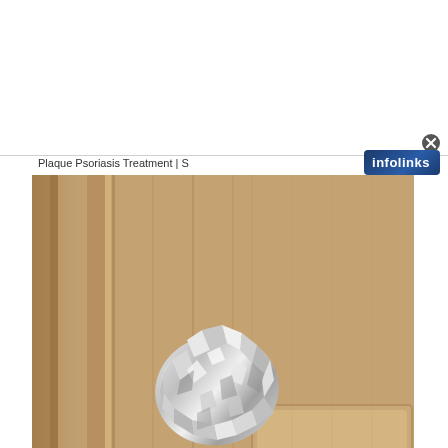[Figure (other): Top white advertisement banner area with close button (X circle) in bottom-right corner]
Plaque Psoriasis Treatment | S
[Figure (logo): Infolinks logo badge, blue background with white text, top right]
[Figure (photo): Photo of a door knob wrapped in crumpled aluminium foil on a beige/tan wooden door]
[Figure (logo): Infolinks logo badge, blue background with white text, bottom left over image]
[Figure (other): Close button (X circle) bottom right of image]
[Figure (other): Bottom white/grey area below image]